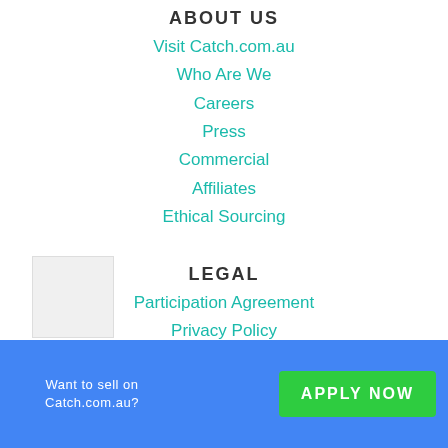ABOUT US
Visit Catch.com.au
Who Are We
Careers
Press
Commercial
Affiliates
Ethical Sourcing
LEGAL
Participation Agreement
Privacy Policy
Privacy Collection Statement
Terms & Conditions
Review Policy & Guidelines
Whistleblower Protection Policy
FOLLOW CATCH
Want to sell on Catch.com.au?
APPLY NOW